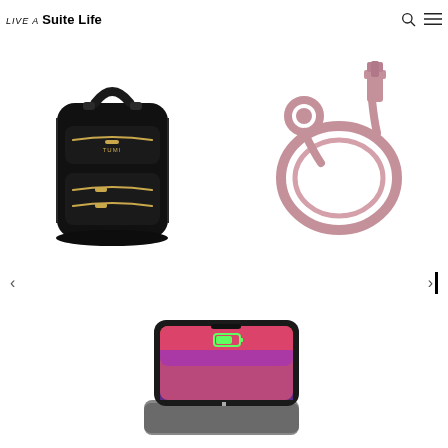LIVE A Suite Life
[Figure (photo): Black Tumi backpack with gold zippers on white background]
[Figure (photo): Rose gold braided lightning cable coiled in a circle with knot on white background]
[Figure (photo): Smartphone being charged on a portable battery pack showing colorful screen on white background]